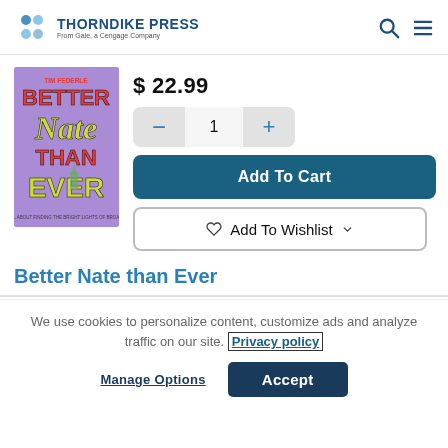THORNDIKE PRESS — From Gale, a Cengage Company
[Figure (illustration): Book cover for 'Better Nate than Ever' by Tim Federle. Purple background with colorful retro lettering.]
$ 22.99
1
Add To Cart
Add To Wishlist
Better Nate than Ever
We use cookies to personalize content, customize ads and analyze traffic on our site. Privacy policy
Manage Options
Accept